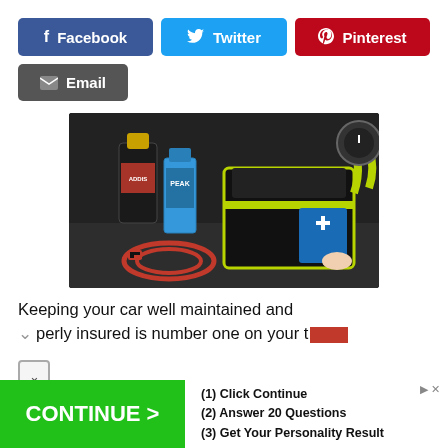[Figure (other): Social share buttons: Facebook (blue), Twitter (light blue), Pinterest (red), Email (dark gray)]
[Figure (photo): Car trunk organizer with emergency supplies: jumper cables, motor oil bottles (PEAK brand), a yellow-trimmed black bag open showing a first aid kit, and a pressure gauge in the top right corner.]
Keeping your car well maintained and properly insured is number one on your t...